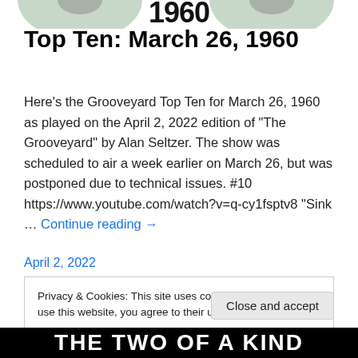[Figure (illustration): Partial view of vinyl record discs and the year '1960' text at the top of the page, cropped at top edge]
Top Ten: March 26, 1960
Here's the Grooveyard Top Ten for March 26, 1960 as played on the April 2, 2022 edition of "The Grooveyard" by Alan Seltzer. The show was scheduled to air a week earlier on March 26, but was postponed due to technical issues. #10 https://www.youtube.com/watch?v=q-cy1fsptv8 "Sink … Continue reading →
April 2, 2022
Privacy & Cookies: This site uses cookies. By continuing to use this website, you agree to their use.
To find out more, including how to control cookies, see here: Cookie Policy
Close and accept
[Figure (illustration): Bottom banner with large bold white text on black background reading 'THE TWO OF A KIND']